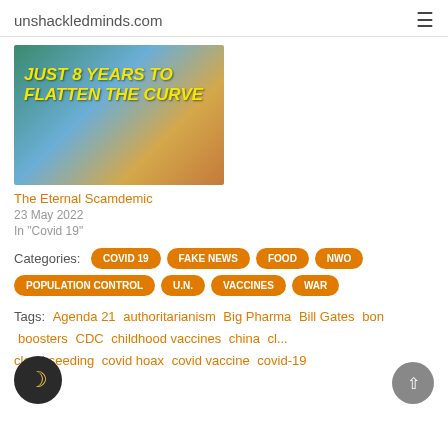unshackledminds.com
[Figure (photo): Image with yellow bold italic text reading 'JUST 8 YEARS TO FLATTEN THE CURVE' over a composite background]
The Eternal Scamdemic
23 May 2022
In "Covid 19"
Categories: COVID 19  FAKE NEWS  FOOD  NWO  POPULATION CONTROL  U.N.  VACCINES  WAR
Tags: Agenda 21  authoritarianism  Big Pharma  Bill Gates  b...on  boosters  CDC  childhood vaccines  china  cl...  cloud seeding  covid hoax  covid vaccine  covid-19